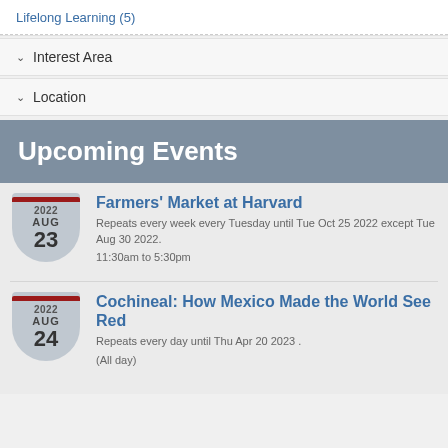Lifelong Learning (5)
Interest Area
Location
Upcoming Events
Farmers' Market at Harvard
Repeats every week every Tuesday until Tue Oct 25 2022 except Tue Aug 30 2022.
11:30am to 5:30pm
Cochineal: How Mexico Made the World See Red
Repeats every day until Thu Apr 20 2023 .
(All day)